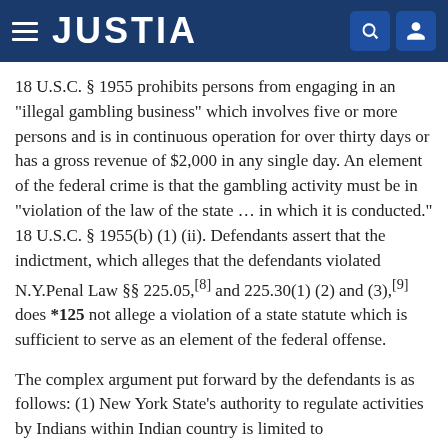JUSTIA
18 U.S.C. § 1955 prohibits persons from engaging in an "illegal gambling business" which involves five or more persons and is in continuous operation for over thirty days or has a gross revenue of $2,000 in any single day. An element of the federal crime is that the gambling activity must be in "violation of the law of the state ... in which it is conducted." 18 U.S.C. § 1955(b) (1) (ii). Defendants assert that the indictment, which alleges that the defendants violated N.Y.Penal Law §§ 225.05,[8] and 225.30(1) (2) and (3),[9] does *125 not allege a violation of a state statute which is sufficient to serve as an element of the federal offense.
The complex argument put forward by the defendants is as follows: (1) New York State's authority to regulate activities by Indians within Indian country is limited to